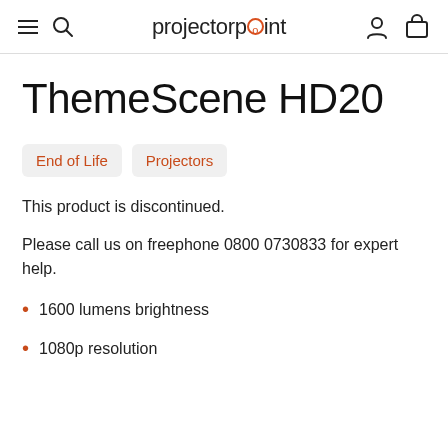projectorpoint
ThemeScene HD20
End of Life  Projectors
This product is discontinued.
Please call us on freephone 0800 0730833 for expert help.
1600 lumens brightness
1080p resolution